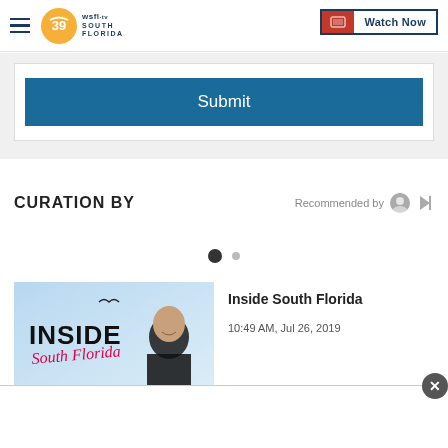WSFL-TV South Florida | Watch Now
Submit
CURATION BY
Recommended by
[Figure (screenshot): Carousel navigation dots, two dots with first selected]
[Figure (photo): Inside South Florida show thumbnail with host and logo]
Inside South Florida
10:49 AM, Jul 26, 2019
Advertisement close button